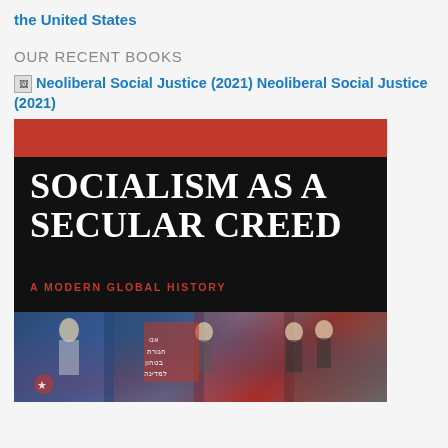the United States
OUR RECENT BOOKS
Neoliberal Social Justice (2021) Neoliberal Social Justice (2021)
[Figure (photo): Book cover of 'Socialism as a Secular Creed: A Modern Global History'. Red top band, black middle section with large white serif title text, red subtitle text reading 'A MODERN GLOBAL HISTORY', and bottom section with historical photomontage imagery including figures and propaganda posters.]